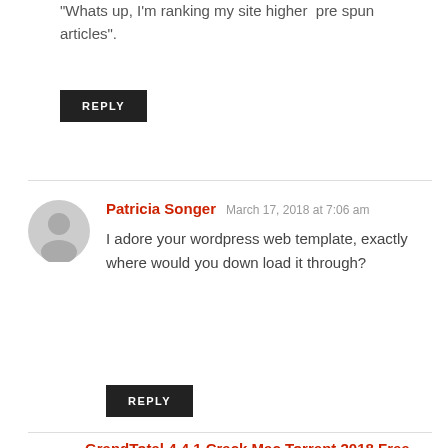“Whats up, I’m ranking my site higher  pre spun articles”.
REPLY
Patricia Songer  March 17, 2018 at 7:06 am
I adore your wordpress web template, exactly where would you down load it through?
REPLY
GrandTotal 4.4.1 Crack Mac Torrent 2018 Free Download MacOSX  March 17,